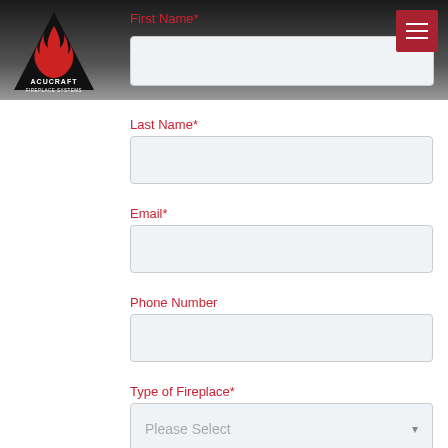[Figure (logo): Acucraft Fireplace Systems logo — black triangle/letter A with red flame, white text ACUCRAFT and FIREPLACE SYSTEMS below]
First Name*
Last Name*
Email*
Phone Number
Type of Fireplace*
What is your role?*